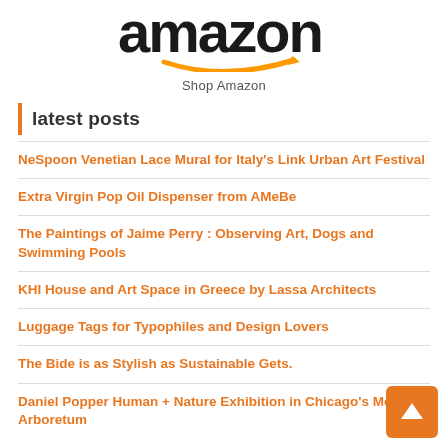[Figure (logo): Amazon logo with black text 'amazon' and orange smile arrow beneath]
Shop Amazon
latest posts
NeSpoon Venetian Lace Mural for Italy's Link Urban Art Festival
Extra Virgin Pop Oil Dispenser from AMeBe
The Paintings of Jaime Perry : Observing Art, Dogs and Swimming Pools
KHI House and Art Space in Greece by Lassa Architects
Luggage Tags for Typophiles and Design Lovers
The Bide is as Stylish as Sustainable Gets.
Daniel Popper Human + Nature Exhibition in Chicago's Morton Arboretum